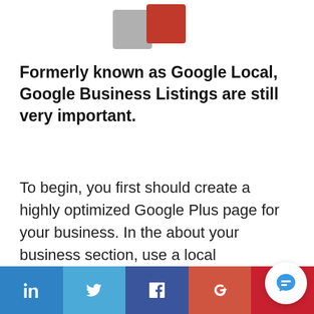[Figure (logo): Google logo mark — grey and red 3D block shapes forming an abstract 'G' or similar icon]
Formerly known as Google Local, Google Business Listings are still very important.
To begin, you first should create a highly optimized Google Plus page for your business. In the about your business section, use a local description for your business with links back to your site. Make sure your phone number, addres…